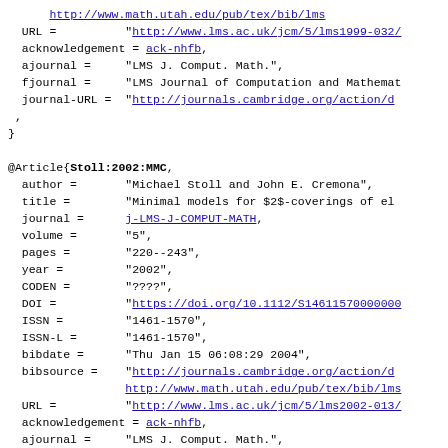BibTeX entries showing bibliography data for Stoll:1999 and Stoll:2002:MMC articles including URLs, journal information, author, title, volume, pages, year, CODEN, DOI, ISSN, bibdate, bibsource, acknowledgement, ajournal, fjournal, journal-URL, onlinedate fields.